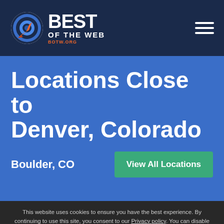[Figure (logo): Best of the Web (BOTW.ORG) logo with circular target icon and white text]
Locations Close to Denver, Colorado
Boulder, CO
View All Locations
This website uses cookies to ensure you have the best experience. By continuing to use this site, you consent to our Privacy policy. You can disable cookies at any time, by changing your browser settings.
Close